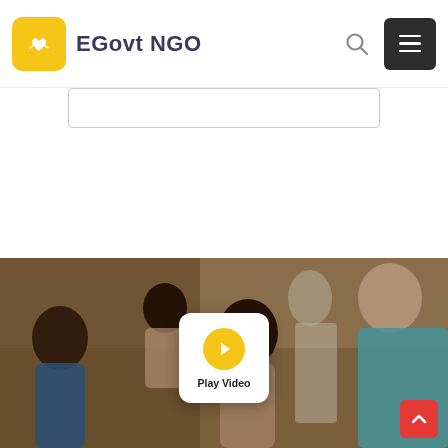EGovt NGO
[Figure (screenshot): Website screenshot showing EGovt NGO header with logo, search icon, and hamburger menu button. Below is a partial search bar. The lower half shows a photo of African children with a Play Video button overlay and a red scroll-to-top button.]
Play Video